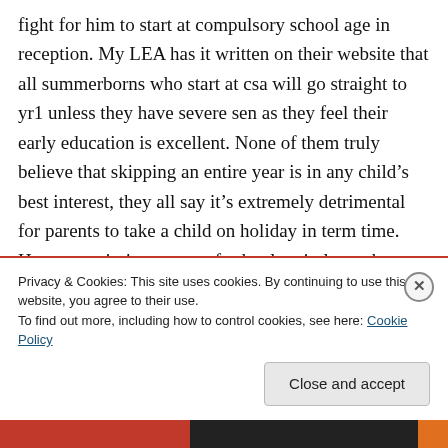fight for him to start at compulsory school age in reception. My LEA has it written on their website that all summerborns who start at csa will go straight to yr1 unless they have severe sen as they feel their early education is excellent. None of them truly believe that skipping an entire year is in any child's best interest, they all say it's extremely detrimental for parents to take a child on holiday in term time. How can missing a year of school entirely not be detrimental but missing a week or two per year is supposedly
Privacy & Cookies: This site uses cookies. By continuing to use this website, you agree to their use.
To find out more, including how to control cookies, see here: Cookie Policy
Close and accept